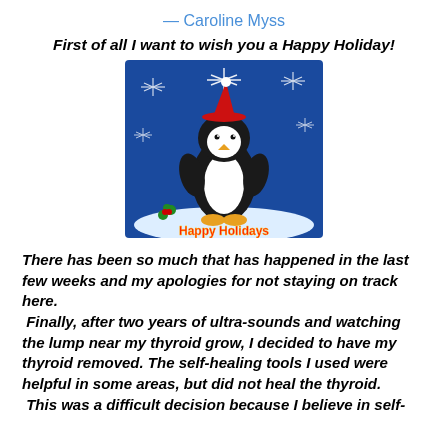— Caroline Myss
First of all I want to wish you a Happy Holiday!
[Figure (illustration): Cartoon penguin wearing a Santa hat surrounded by snowflakes on a blue background with 'Happy Holidays' text at the bottom]
There has been so much that has happened in the last few weeks and my apologies for not staying on track here. Finally, after two years of ultra-sounds and watching the lump near my thyroid grow, I decided to have my thyroid removed. The self-healing tools I used were helpful in some areas, but did not heal the thyroid. This was a difficult decision because I believe in self-